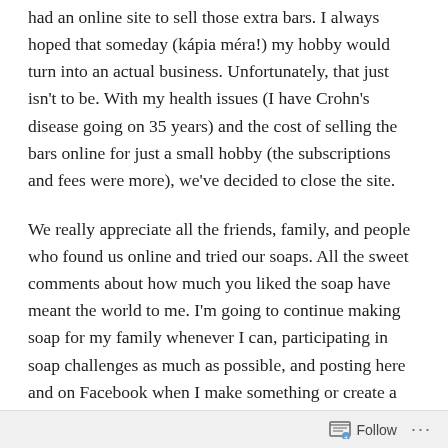had an online site to sell those extra bars. I always hoped that someday (kápia méra!) my hobby would turn into an actual business. Unfortunately, that just isn't to be. With my health issues (I have Crohn's disease going on 35 years) and the cost of selling the bars online for just a small hobby (the subscriptions and fees were more), we've decided to close the site.
We really appreciate all the friends, family, and people who found us online and tried our soaps. All the sweet comments about how much you liked the soap have meant the world to me. I'm going to continue making soap for my family whenever I can, participating in soap challenges as much as possible, and posting here and on Facebook when I make something or create a video.
Follow ···